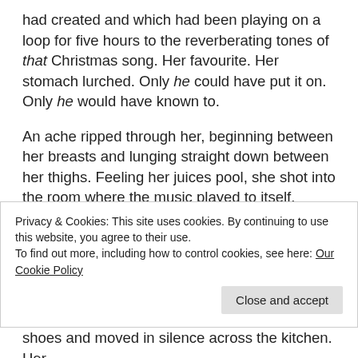had created and which had been playing on a loop for five hours to the reverberating tones of that Christmas song. Her favourite. Her stomach lurched. Only he could have put it on. Only he would have known to.
An ache ripped through her, beginning between her breasts and lunging straight down between her thighs. Feeling her juices pool, she shot into the room where the music played to itself. Another envelope hung from the mistletoe in the centre of the room. She knew he was here somewhere. Watching her. She could feel it.
Privacy & Cookies: This site uses cookies. By continuing to use this website, you agree to their use.
To find out more, including how to control cookies, see here: Our Cookie Policy
shoes and moved in silence across the kitchen. Her